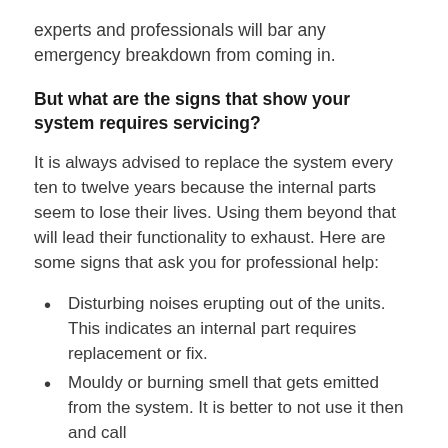experts and professionals will bar any emergency breakdown from coming in.
But what are the signs that show your system requires servicing?
It is always advised to replace the system every ten to twelve years because the internal parts seem to lose their lives. Using them beyond that will lead their functionality to exhaust. Here are some signs that ask you for professional help:
Disturbing noises erupting out of the units. This indicates an internal part requires replacement or fix.
Mouldy or burning smell that gets emitted from the system. It is better to not use it then and call